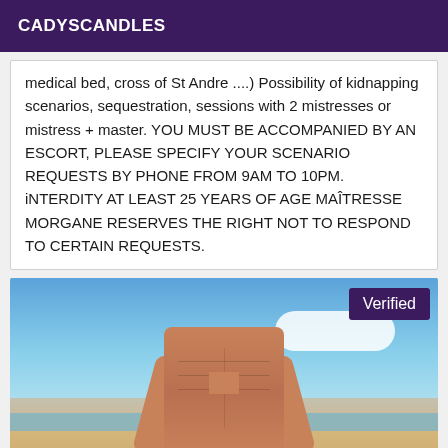CADYSCANDLES
medical bed, cross of St Andre ....) Possibility of kidnapping scenarios, sequestration, sessions with 2 mistresses or mistress + master. YOU MUST BE ACCOMPANIED BY AN ESCORT, PLEASE SPECIFY YOUR SCENARIO REQUESTS BY PHONE FROM 9AM TO 10PM. iNTERDITY AT LEAST 25 YEARS OF AGE MAÎTRESSE MORGANE RESERVES THE RIGHT NOT TO RESPOND TO CERTAIN REQUESTS.
[Figure (photo): Photo of a person's torso at a beach with a 'Verified' badge overlay in the top right corner]